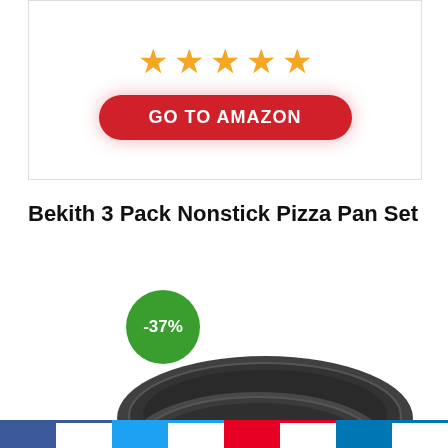[Figure (other): Five orange stars rating display with a red 'GO TO AMAZON' button below]
Bekith 3 Pack Nonstick Pizza Pan Set
[Figure (photo): Product photo of nonstick pizza pan set with dark circular pans stacked, showing -37% discount badge in green circle]